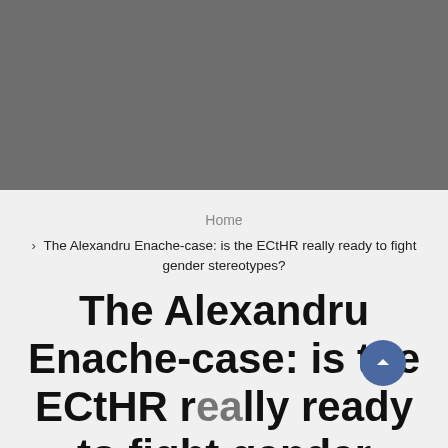[Figure (photo): Gray placeholder/hero image at top of page]
Home
> The Alexandru Enache-case: is the ECtHR really ready to fight gender stereotypes?
The Alexandru Enache-case: is the ECtHR really ready to fight gender